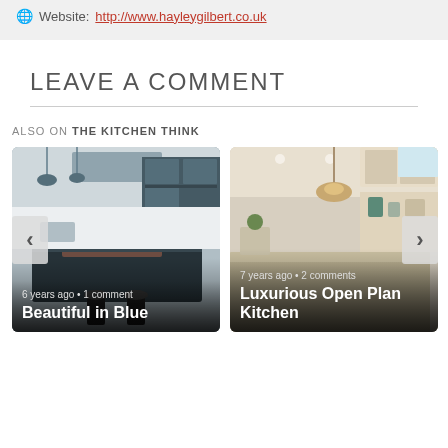Website: http://www.hayleygilbert.co.uk
LEAVE A COMMENT
ALSO ON THE KITCHEN THINK
[Figure (photo): Photo of a modern dark blue kitchen with island and pendant lights. Caption: 6 years ago • 1 comment / Beautiful in Blue]
[Figure (photo): Photo of a luxurious light open plan kitchen. Caption: 7 years ago • 2 comments / Luxurious Open Plan Kitchen]